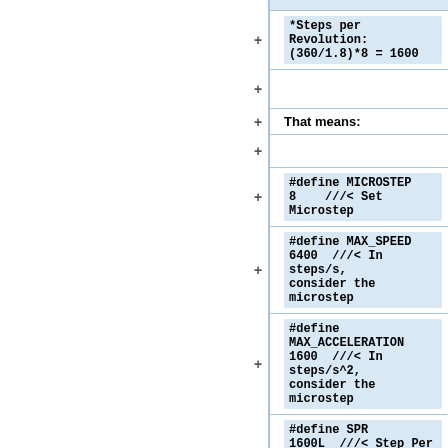*Steps per Revolution: (360/1.8)*8 = 1600
That means:
#define MICROSTEP 8    ///< Set Microstep
#define MAX_SPEED 6400  ///< In steps/s, consider the microstep
#define MAX_ACCELERATION 1600  ///< In steps/s^2, consider the microstep
#define SPR 1600L  ///< Step Per Revolution, consider the microstep